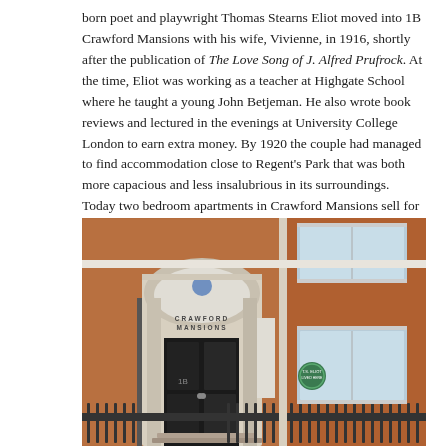born poet and playwright Thomas Stearns Eliot moved into 1B Crawford Mansions with his wife, Vivienne, in 1916, shortly after the publication of The Love Song of J. Alfred Prufrock. At the time, Eliot was working as a teacher at Highgate School where he taught a young John Betjeman. He also wrote book reviews and lectured in the evenings at University College London to earn extra money. By 1920 the couple had managed to find accommodation close to Regent's Park that was both more capacious and less insalubrious in its surroundings. Today two bedroom apartments in Crawford Mansions sell for more than £1m.
[Figure (photo): Photograph of the entrance to Crawford Mansions, a red-brick building in London. A grand stone doorway with a fanlight arch bears the inscription 'CRAWFORD MANSIONS'. A green circular plaque is visible on the wall to the right of the entrance. Iron railings are in the foreground.]